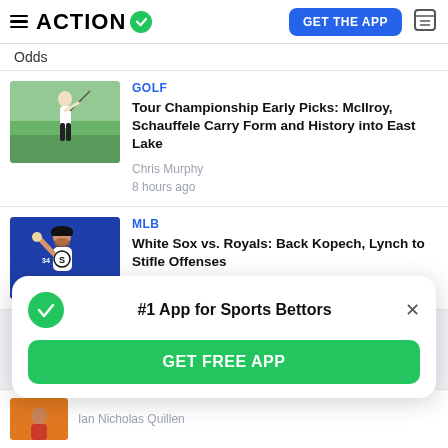ACTION
Odds
[Figure (photo): Golfer swinging a club on a green course]
GOLF
Tour Championship Early Picks: McIlroy, Schauffele Carry Form and History into East Lake
Chris Murphy
8 hours ago
[Figure (photo): Baseball pitcher in White Sox uniform number 34]
MLB
White Sox vs. Royals: Back Kopech, Lynch to Stifle Offenses
Tony Sartori
#1 App for Sports Bettors
GET FREE APP
Ian Nicholas Quillen